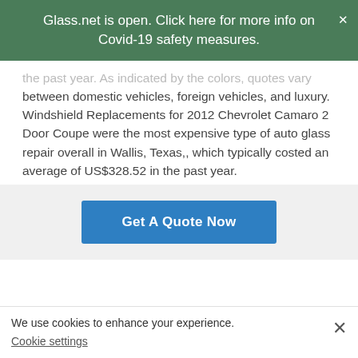Glass.net is open. Click here for more info on Covid-19 safety measures.
the past year. As indicated by the colors, quotes vary between domestic vehicles, foreign vehicles, and luxury. Windshield Replacements for 2012 Chevrolet Camaro 2 Door Coupe were the most expensive type of auto glass repair overall in Wallis, Texas,, which typically costed an average of US$328.52 in the past year.
[Figure (other): Get A Quote Now button (blue CTA button)]
Recent Wallis, Texas, Auto Glass Repair Price Quotes
We use cookies to enhance your experience. Cookie settings